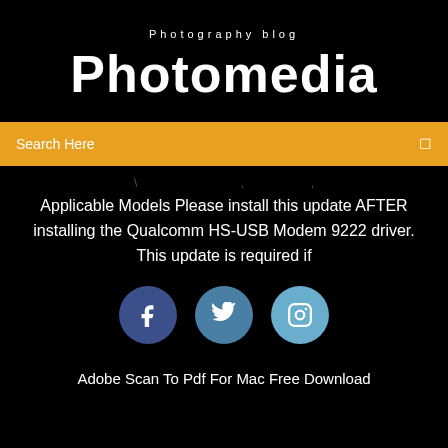Photography blog
Photomedia
Search Here
Applicable Models Please install this update AFTER installing the Qualcomm HS-USB Modem 9222 driver. This update is required if
[Figure (illustration): Three social media icons: Facebook (dark blue circle with 'f'), Twitter (medium blue circle with bird icon), Instagram (light blue circle with camera icon)]
Adobe Scan To Pdf For Mac Free Download